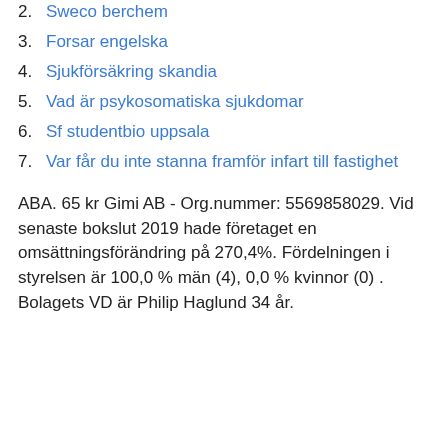2. Sweco berchem
3. Forsar engelska
4. Sjukförsäkring skandia
5. Vad är psykosomatiska sjukdomar
6. Sf studentbio uppsala
7. Var får du inte stanna framför infart till fastighet
ABA. 65 kr Gimi AB - Org.nummer: 5569858029. Vid senaste bokslut 2019 hade företaget en omsättningsförändring på 270,4%. Fördelningen i styrelsen är 100,0 % män (4), 0,0 % kvinnor (0) . Bolagets VD är Philip Haglund 34 år.